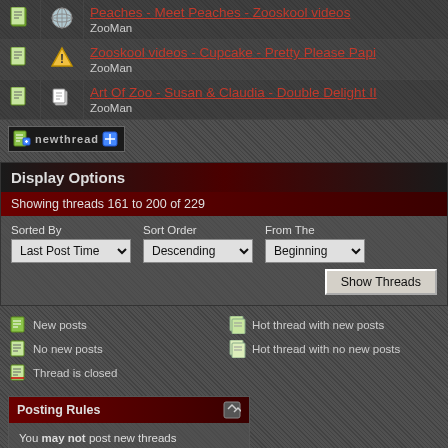Peaches - Meet Peaches - Zooskool videos — ZooMan
Zooskool videos - Cupcake - Pretty Please Papi — ZooMan
Art Of Zoo - Susan & Claudia - Double Delight II — ZooMan
Display Options
Showing threads 161 to 200 of 229
Sorted By: Last Post Time | Sort Order: Descending | From The: Beginning
New posts | No new posts | Hot thread with new posts | Hot thread with no new posts | Thread is closed
Posting Rules
You may not post new threads
You may not post replies
You may not post attachments
You may not edit your posts